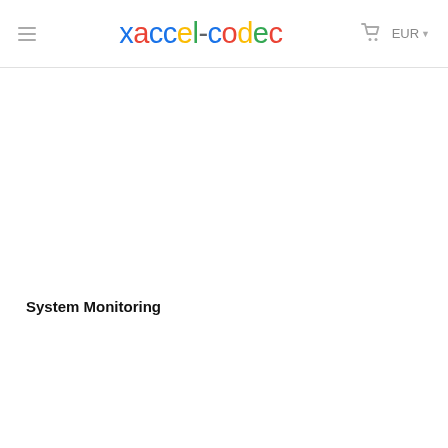xaccel-codec  EUR
System Monitoring